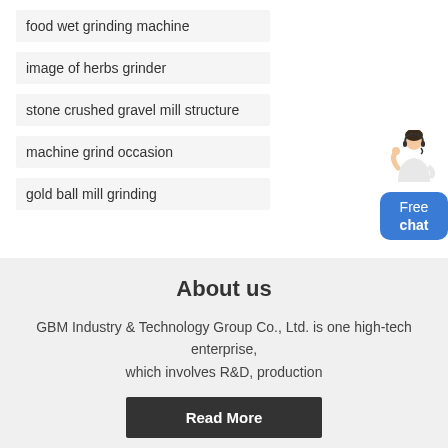food wet grinding machine
image of herbs grinder
stone crushed gravel mill structure
machine grind occasion
gold ball mill grinding
[Figure (illustration): Customer service representative with Free chat button widget]
About us
GBM Industry & Technology Group Co., Ltd. is one high-tech enterprise, which involves R&D, production
Read More